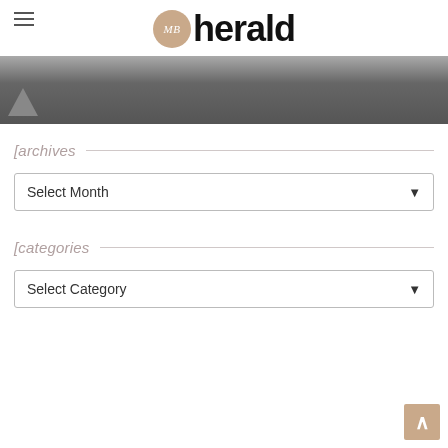MB herald
[Figure (photo): Dark gray banner image with a small triangular shape in the lower left]
[archives
Select Month
[categories
Select Category